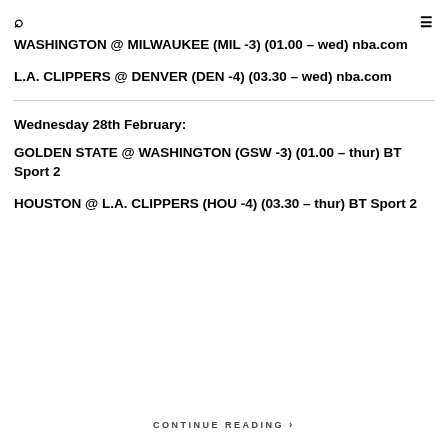🔍  ≡
WASHINGTON @ MILWAUKEE (MIL -3) (01.00 – wed) nba.com
L.A. CLIPPERS @ DENVER (DEN -4) (03.30 – wed) nba.com
Wednesday 28th February:
GOLDEN STATE @ WASHINGTON (GSW -3) (01.00 – thur) BT Sport 2
HOUSTON @ L.A. CLIPPERS (HOU -4) (03.30 – thur) BT Sport 2
CONTINUE READING ›